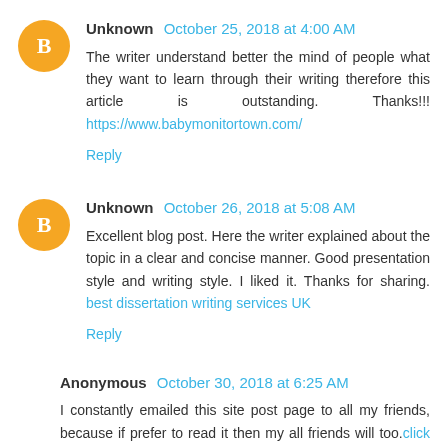Unknown October 25, 2018 at 4:00 AM
The writer understand better the mind of people what they want to learn through their writing therefore this article is outstanding. Thanks!!! https://www.babymonitortown.com/
Reply
Unknown October 26, 2018 at 5:08 AM
Excellent blog post. Here the writer explained about the topic in a clear and concise manner. Good presentation style and writing style. I liked it. Thanks for sharing. best dissertation writing services UK
Reply
Anonymous October 30, 2018 at 6:25 AM
I constantly emailed this site post page to all my friends, because if prefer to read it then my all friends will too. click to read more